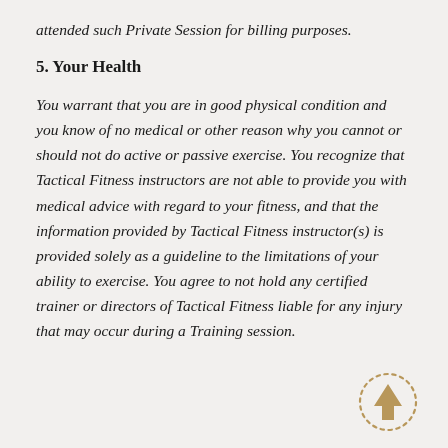attended such Private Session for billing purposes.
5. Your Health
You warrant that you are in good physical condition and you know of no medical or other reason why you cannot or should not do active or passive exercise. You recognize that Tactical Fitness instructors are not able to provide you with medical advice with regard to your fitness, and that the information provided by Tactical Fitness instructor(s) is provided solely as a guideline to the limitations of your ability to exercise. You agree to not hold any certified trainer or directors of Tactical Fitness liable for any injury that may occur during a Training session.
[Figure (other): Circular dotted border button with an upward-pointing arrow icon, used as a scroll-to-top navigation element]